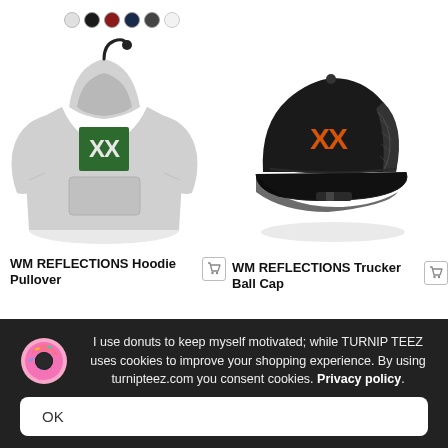[Figure (photo): WM Reflections hoodie pullover in gray with green/white XX logo on chest, shown on a hanger with color swatch dots (white, black, red, navy, gray, light gray)]
[Figure (photo): WM Reflections black trucker ball cap with orange/dark XX logo on front panel]
WM REFLECTIONS Hoodie Pullover
WM REFLECTIONS Trucker Ball Cap
I use donuts to keep myself motivated; while TURNIP TEEZ uses cookies to improve your shopping experience. By using turnipteez.com you consent cookies. Privacy policy.
OK